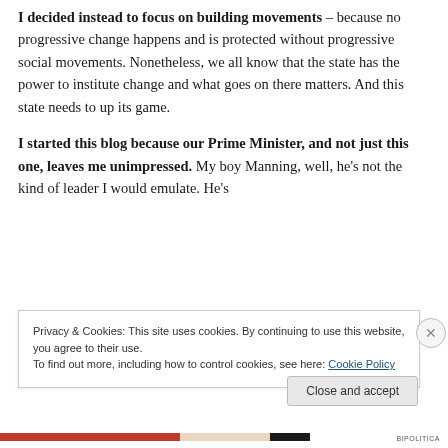I decided instead to focus on building movements – because no progressive change happens and is protected without progressive social movements. Nonetheless, we all know that the state has the power to institute change and what goes on there matters. And this state needs to up its game.
I started this blog because our Prime Minister, and not just this one, leaves me unimpressed. My boy Manning, well, he's not the kind of leader I would emulate. He's
Privacy & Cookies: This site uses cookies. By continuing to use this website, you agree to their use.
To find out more, including how to control cookies, see here: Cookie Policy